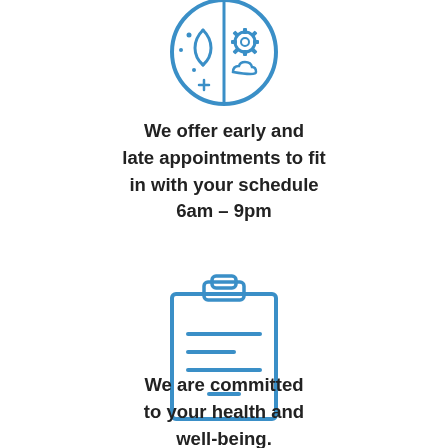[Figure (illustration): Blue line-art icon of a brain split into two halves — left side shows a moon and stars (night/mental), right side shows gears and a cloud (mechanical/cognitive).]
We offer early and late appointments to fit in with your schedule 6am – 9pm
[Figure (illustration): Blue line-art icon of a clipboard with horizontal lines representing a checklist or medical form.]
We are committed to your health and well-being.